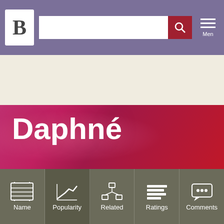Navigation bar with logo B, search box, and menu
Daphné
Popularity (feminine) in France
Settings  Help
names to compare  Compare
[Figure (line-chart): Partial line chart showing y-axis labels 0.200%, 0.160%, 0.120%, chart cropped]
Name  Popularity  Related  Ratings  Comments